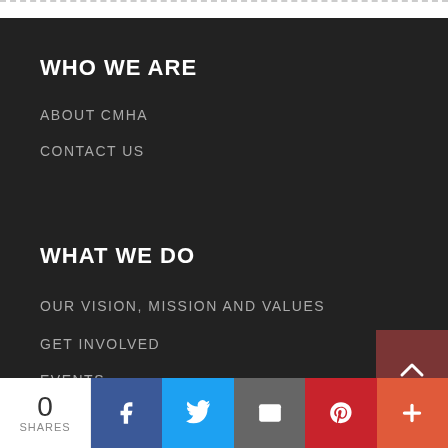WHO WE ARE
ABOUT CMHA
CONTACT US
WHAT WE DO
OUR VISION, MISSION AND VALUES
GET INVOLVED
EVENTS
[Figure (infographic): Back to top button with upward chevron arrow on dark red background]
[Figure (infographic): Social sharing bar: 0 SHARES count, Facebook, Twitter, Email, Pinterest, More (+) buttons]